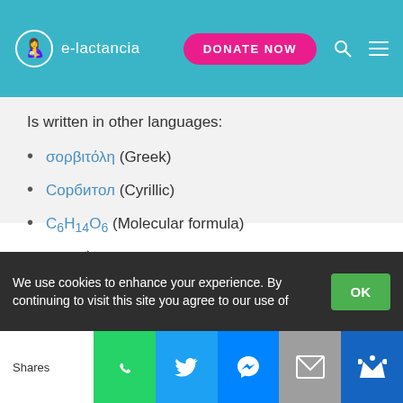e-lactancia — DONATE NOW
Is written in other languages:
σορβιτόλη (Greek)
Сорбитол (Cyrillic)
C6H14O6 (Molecular formula)
D-ソルビトール is also known as
E420
d-Glucitol
We use cookies to enhance your experience. By continuing to visit this site you agree to our use of   OK   Shares